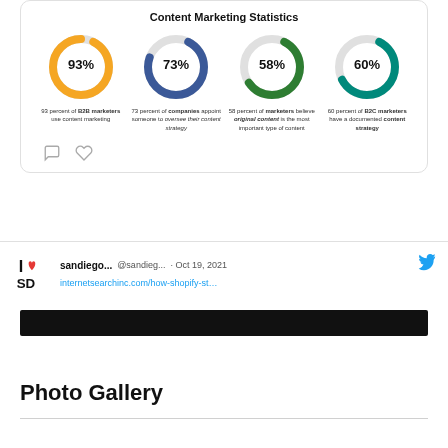[Figure (infographic): Content Marketing Statistics infographic showing 4 donut charts: 93% B2B marketers use content marketing (orange), 73% companies appoint someone to oversee their content strategy (blue), 58% marketers believe original content is the most important type of content (green), 60% B2C marketers have a documented content strategy (teal). Below are comment and like icons.]
[Figure (screenshot): Tweet screenshot from sandiego... @sandieg... Oct 19, 2021 with Twitter bird icon and link internetsearchinc.com/how-shopify-st...]
[Figure (other): Black redacted/blurred bar]
Photo Gallery